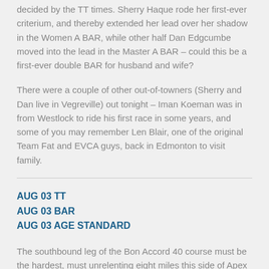decided by the TT times. Sherry Haque rode her first-ever criterium, and thereby extended her lead over her shadow in the Women A BAR, while other half Dan Edgcumbe moved into the lead in the Master A BAR – could this be a first-ever double BAR for husband and wife?
There were a couple of other out-of-towners (Sherry and Dan live in Vegreville) out tonight – Iman Koeman was in from Westlock to ride his first race in some years, and some of you may remember Len Blair, one of the original Team Fat and EVCA guys, back in Edmonton to visit family.
AUG 03 TT
AUG 03 BAR
AUG 03 AGE STANDARD
The southbound leg of the Bon Accord 40 course must be the hardest, must unrelenting eight miles this side of Apex Summit. The only nice thing about it is the name – Lily Lake Road. Or maybe I'm